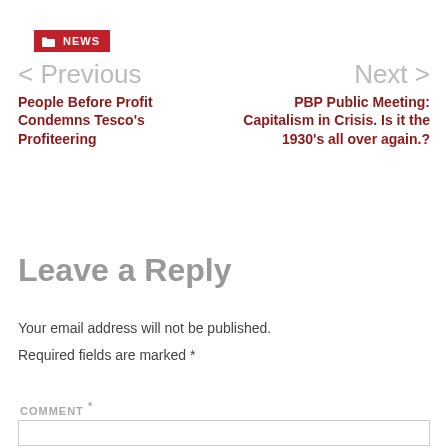NEWS
< Previous
People Before Profit Condemns Tesco's Profiteering
Next >
PBP Public Meeting: Capitalism in Crisis. Is it the 1930's all over again.?
Leave a Reply
Your email address will not be published.
Required fields are marked *
COMMENT *